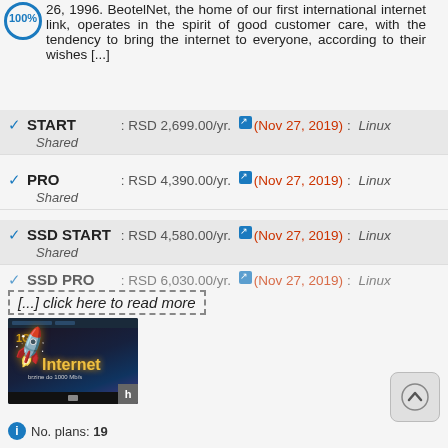26, 1996. BeotelNet, the home of our first international internet link, operates in the spirit of good customer care, with the tendency to bring the internet to everyone, according to their wishes [...]
✓ START : RSD 2,699.00/yr. (Nov 27, 2019) : Linux  Shared
✓ PRO : RSD 4,390.00/yr. (Nov 27, 2019) : Linux  Shared
✓ SSD START : RSD 4,580.00/yr. (Nov 27, 2019) : Linux  Shared
✓ SSD PRO : RSD 6,030.00/yr. (Nov 27, 2019) : Linux
[...] click here to read more
[Figure (screenshot): Screenshot of BeotelNet website showing 1Gb Internet service with text 'brzine do 1000 Mb/s']
No. plans: 19